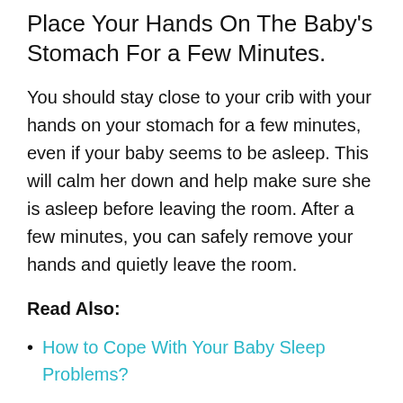Place Your Hands On The Baby's Stomach For a Few Minutes.
You should stay close to your crib with your hands on your stomach for a few minutes, even if your baby seems to be asleep. This will calm her down and help make sure she is asleep before leaving the room. After a few minutes, you can safely remove your hands and quietly leave the room.
Read Also:
How to Cope With Your Baby Sleep Problems?
Method 2: Adjust The Baby's Sleeping Position: